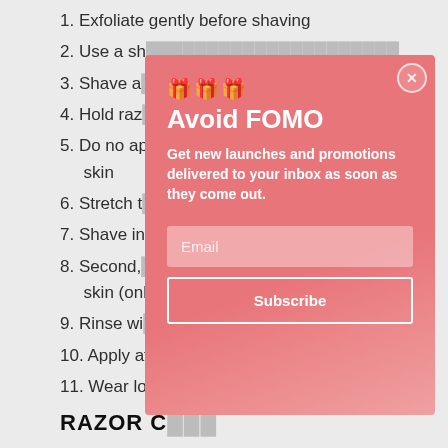1. Exfoliate gently before shaving
2. Use a sh[aving cream with a good lather]
3. Shave a[long the grain]
4. Hold raz[or at an angle]
5. Do no ap[ply too much pressure on skin]
6. Stretch t[he skin taut]
7. Shave in[short strokes]
8. Second, [pass across the grain for sensitive skin (on]ly if needed)
9. Rinse wi[th cold water]
10. Apply af[tershave]
11. Wear loc[se clothing after shaving]
RAZOR C[ARE]
1. After shaving, slightly unscrew razor and rinse
[Figure (infographic): Yellow circular gift icon with red gift box]
[Figure (screenshot): Pink modal popup overlay with Avoid FOMO heading, emoji icons, subscription text, email input field, and Subscribe button]